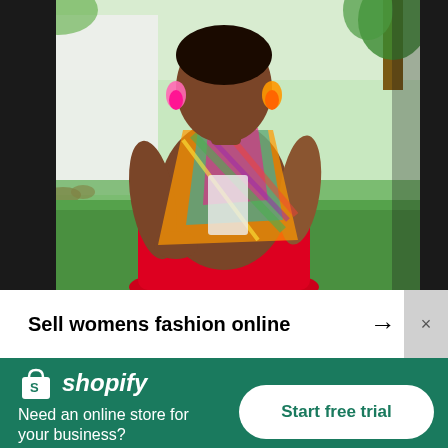[Figure (photo): A woman wearing a colorful scarf/blouse and red skirt, posing with hands on hips outdoors in a green garden setting]
Sell womens fashion online →  ×
[Figure (logo): Shopify logo — shopping bag icon with letter S plus italic text 'shopify' in white on green background]
Need an online store for your business?
Start free trial